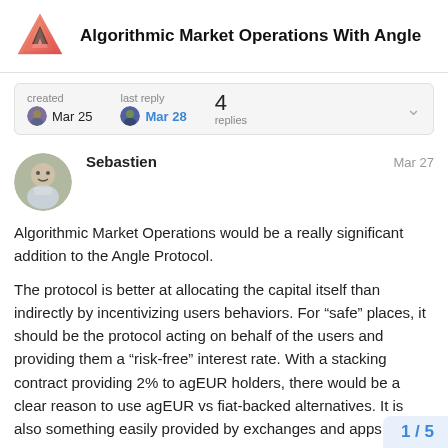Algorithmic Market Operations With Angle
created Mar 25  last reply Mar 28  4 replies
Sebastien  Mar 27
Algorithmic Market Operations would be a really significant addition to the Angle Protocol.
The protocol is better at allocating the capital itself than indirectly by incentivizing users behaviors. For “safe” places, it should be the protocol acting on behalf of the users and providing them a “risk-free” interest rate. With a stacking contract providing 2% to agEUR holders, there would be a clear reason to use agEUR vs fiat-backed alternatives. It is also something easily provided by exchanges and apps.
Those AMO will also be a kind of market-r
1 / 5